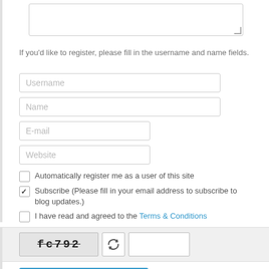[Figure (screenshot): Textarea input field (partially shown at top of page)]
If you'd like to register, please fill in the username and name fields.
[Figure (screenshot): Form fields: Username, Name, E-mail, Website text inputs; checkboxes for auto-register, subscribe, and terms agreement; CAPTCHA area; Submit Your Comment button]